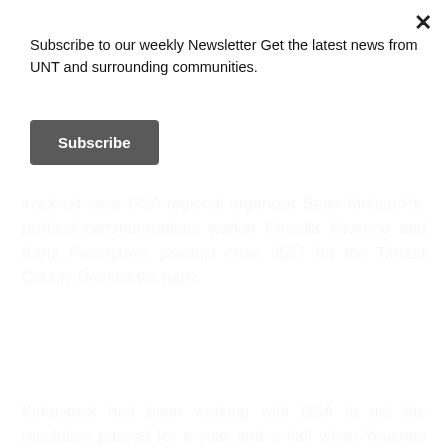Subscribe to our weekly Newsletter Get the latest news from UNT and surrounding communities.
Subscribe
involved were DSA regional organizer Sean Kirkpatrick, political communications worker Priscilla Yeverino and Karla Palomares, precinct chair 2557 for the Tarrant County Democratic party.
Kirkpatrick had been working with DSA to get the resolution passed for a year and a half when Yeverino got involved. As Latinx women — a group that is often underinsured — it was important to both Yeverino and Palomares for the resolution to pass.
“It’s an issue that impacts students, poor and